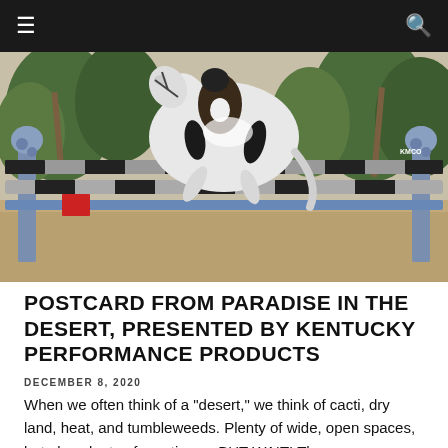[Figure (photo): A white horse and rider mid-jump over colorful show-jumping poles with blue horse-head jump standards, in an outdoor desert equestrian arena with palm trees and mountains in the background.]
POSTCARD FROM PARADISE IN THE DESERT, PRESENTED BY KENTUCKY PERFORMANCE PRODUCTS
DECEMBER 8, 2020
When we often think of a "desert," we think of cacti, dry land, heat, and tumbleweeds. Plenty of wide, open spaces, but also plenty of emptiness. BUT WAIT!  The...